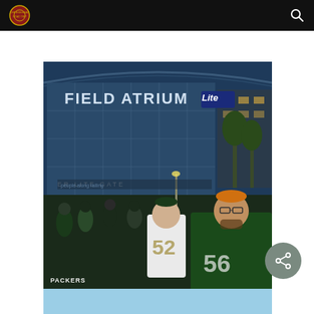Website header with logo and search icon
[Figure (photo): Green Bay Packers fans posing outside the Field Atrium Miller Lite Gate stadium entrance at night. Two men in Packers jerseys (#52 and #56) in the foreground, crowd visible in background, large glass atrium building with 'FIELD ATRIUM Lite' signage lit up.]
[Figure (photo): Partial bottom image, light blue toned photo partially visible at bottom of page.]